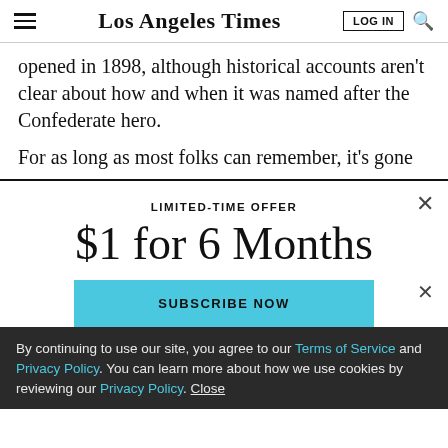Los Angeles Times
opened in 1898, although historical accounts aren't clear about how and when it was named after the Confederate hero.
For as long as most folks can remember, it's gone
LIMITED-TIME OFFER
$1 for 6 Months
SUBSCRIBE NOW
By continuing to use our site, you agree to our Terms of Service and Privacy Policy. You can learn more about how we use cookies by reviewing our Privacy Policy. Close